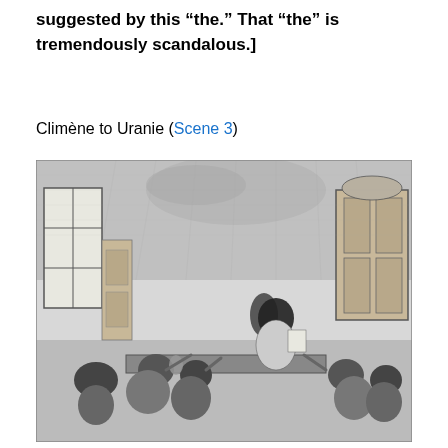suggested by this “the.” That “the” is tremendously scandalous.]
Climène to Uranie (Scene 3)
[Figure (illustration): A black-and-white engraving depicting a baroque interior scene with a group of elaborately dressed figures. A woman with long dark hair stands at center-right reading from a paper or book, surrounded by several seated and standing figures, some gesturing or reacting animatedly. The room features large windows on the left, ornate wall decorations, and a doorway on the right. Allegorical figures appear in the upper portion of the scene.]